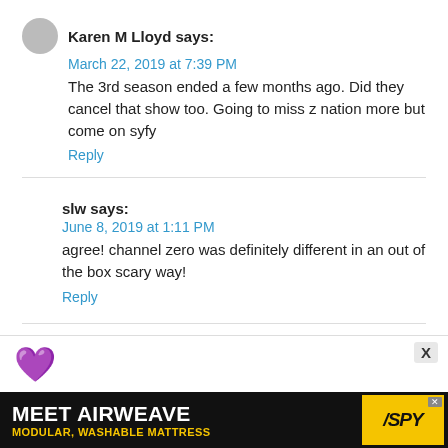Karen M Lloyd says:
March 22, 2019 at 7:39 PM
The 3rd season ended a few months ago. Did they cancel that show too. Going to miss z nation more but come on syfy
Reply
slw says:
June 8, 2019 at 1:11 PM
agree! channel zero was definitely different in an out of the box scary way!
Reply
[Figure (other): Purple heart emoji icon at bottom of page]
[Figure (other): Advertisement banner: MEET AIRWEAVE - MODULAR, WASHABLE MATTRESS with SPY logo on yellow background]